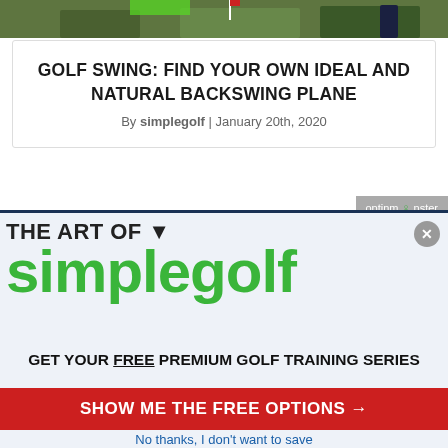[Figure (photo): Top strip of a golf course photo showing green turf and a person playing golf]
GOLF SWING: FIND YOUR OWN IDEAL AND NATURAL BACKSWING PLANE
By simplegolf | January 20th, 2020
[Figure (logo): OptinMonster badge in grey]
[Figure (screenshot): The Art of simplegolf popup overlay with CTA]
GET YOUR FREE PREMIUM GOLF TRAINING SERIES
SHOW ME THE FREE OPTIONS →
No thanks, I don't want to save